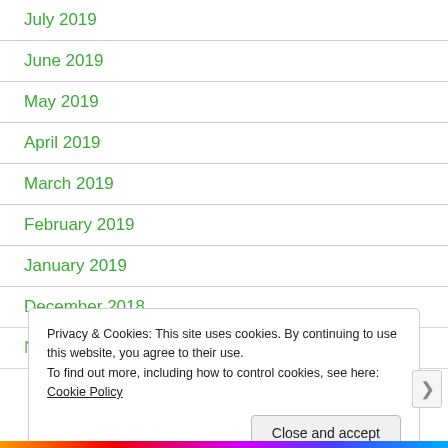July 2019
June 2019
May 2019
April 2019
March 2019
February 2019
January 2019
December 2018
November 2018
Privacy & Cookies: This site uses cookies. By continuing to use this website, you agree to their use.
To find out more, including how to control cookies, see here: Cookie Policy
Close and accept